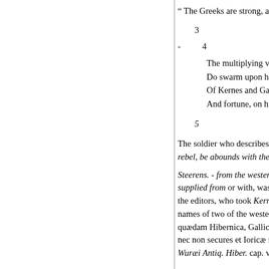" The Greeks are strong, and ski...
3
- 4
The multiplying villainies o...
Do swarm upon him,) from...
Of Kernes and Gallowglass...
And fortune, on his damne...
5
The soldier who describes Maco... rebel, be abounds with the nume...
Steerens. - from the western i... supplied from or with, was a kir... the editors, who took Kernes an... names of two of the western isla... quædam Hibernica, Gallicis ant... nec non secures et Ioricæ ferrex... Wuræi Antiq. Hiber. cap. vi. Wa...